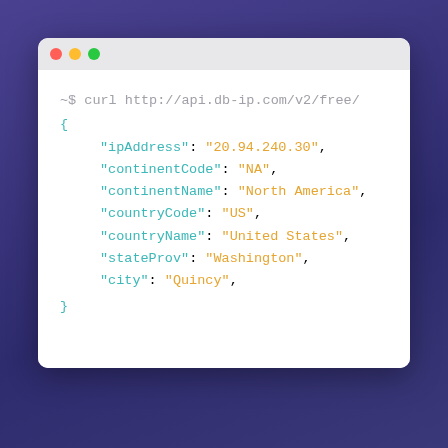[Figure (screenshot): A macOS-style browser/terminal window with a white code area showing a curl command and JSON response from api.db-ip.com. The window has a gray title bar with red, yellow, green traffic light dots. The code shows a curl command in gray, then JSON fields in teal (keys) and orange (string values) including ipAddress, continentCode, continentName, countryCode, countryName, stateProv, and city.]